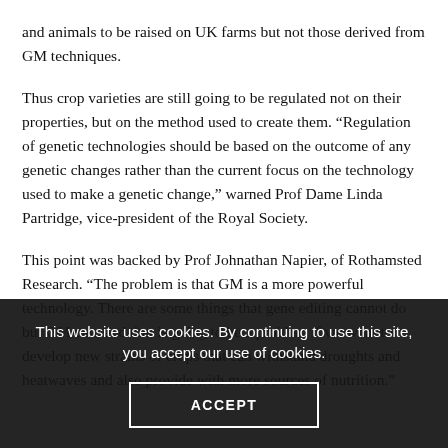and animals to be raised on UK farms but not those derived from GM techniques.
Thus crop varieties are still going to be regulated not on their properties, but on the method used to create them. “Regulation of genetic technologies should be based on the outcome of any genetic changes rather than the current focus on the technology used to make a genetic change,” warned Prof Dame Linda Partridge, vice-president of the Royal Society.
This point was backed by Prof Johnathan Napier, of Rothamsted Research. “The problem is that GM is a more powerful technology. There are some things that gene editing cannot do but GM can, and that is going to be a problem if we want to develop new strains of crops that can withstand droughts and heatwaves and also provide with more sources of nutrition.”
This website uses cookies. By continuing to use this site, you accept our use of cookies.